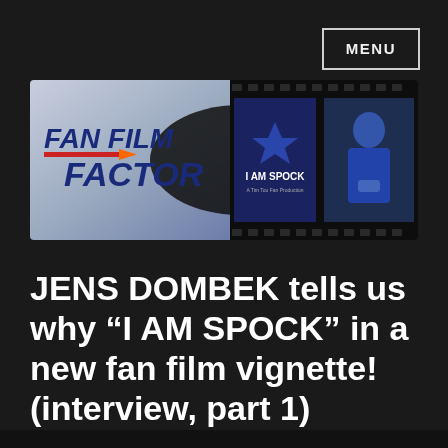MENU
[Figure (logo): Fan Film Factor banner logo with filmstrip showing 'I AM SPOCK' fan film frames]
JENS DOMBEK tells us why “I AM SPOCK” in a new fan film vignette! (interview, part 1)